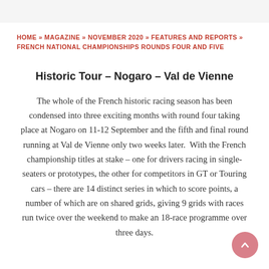HOME » MAGAZINE » NOVEMBER 2020 » FEATURES AND REPORTS » FRENCH NATIONAL CHAMPIONSHIPS ROUNDS FOUR AND FIVE
Historic Tour – Nogaro – Val de Vienne
The whole of the French historic racing season has been condensed into three exciting months with round four taking place at Nogaro on 11-12 September and the fifth and final round running at Val de Vienne only two weeks later.  With the French championship titles at stake – one for drivers racing in single-seaters or prototypes, the other for competitors in GT or Touring cars – there are 14 distinct series in which to score points, a number of which are on shared grids, giving 9 grids with races run twice over the weekend to make an 18-race programme over three days.